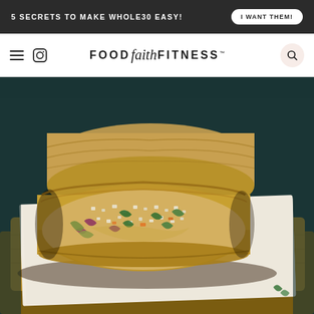5 SECRETS TO MAKE WHOLE30 EASY! | I WANT THEM!
[Figure (logo): Food Faith Fitness website logo with hamburger menu, Instagram icon, and search icon]
[Figure (photo): Close-up photo of a burrito cut in half showing a filling of cauliflower rice, red onion, greens, carrots and other vegetables, wrapped in a whole wheat tortilla, placed on parchment paper on a wooden cutting board against a dark teal background]